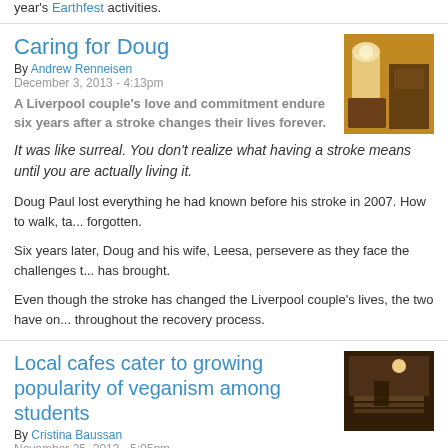year's Earthfest activities.
Caring for Doug
By Andrew Renneisen
December 3, 2013 - 4:13pm
A Liverpool couple's love and commitment endure six years after a stroke changes their lives forever.
[Figure (photo): Interior room scene with lamp and furniture, warm lighting]
It was like surreal. You don't realize what having a stroke means until you are actually living it.
Doug Paul lost everything he had known before his stroke in 2007. How to walk, ta... forgotten.
Six years later, Doug and his wife, Leesa, persevere as they face the challenges t... has brought.
Even though the stroke has changed the Liverpool couple's lives, the two have on... throughout the recovery process.
Local cafes cater to growing popularity of veganism among students
By Cristina Baussan
November 25, 2013 - 5:05pm
[Figure (photo): Interior of a cafe with shelves and dim lighting]
As veganism becomes more prevalent on the Syracuse...